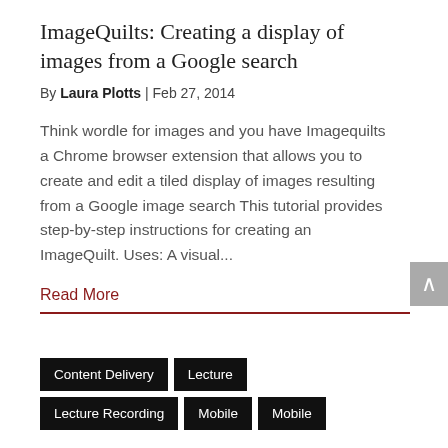ImageQuilts: Creating a display of images from a Google search
By Laura Plotts | Feb 27, 2014
Think wordle for images and you have Imagequilts a Chrome browser extension that allows you to create and edit a tiled display of images resulting from a Google image search This tutorial provides step-by-step instructions for creating an ImageQuilt. Uses: A visual...
Read More
Content Delivery
Lecture
Lecture Recording
Mobile
Mobile